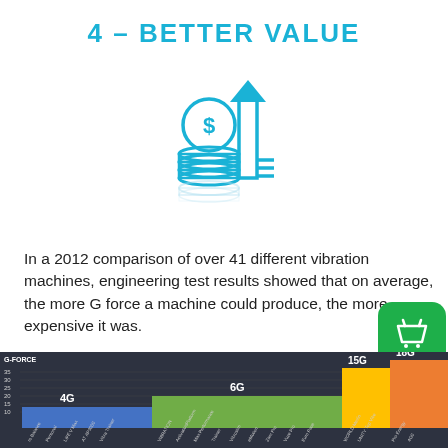4 – BETTER VALUE
[Figure (illustration): Blue line-art icon of a stack of coins with a dollar sign and an upward arrow, representing increasing value]
In a 2012 comparison of over 41 different vibration machines, engineering test results showed that on average, the more G force a machine could produce, the more expensive it was.
[Figure (bar-chart): Horizontal bar chart showing G-force values for different vibration machine groups. Blue bar 4G, green bar 6G, yellow bar 15G, orange bar 18G, with machine names on x-axis]